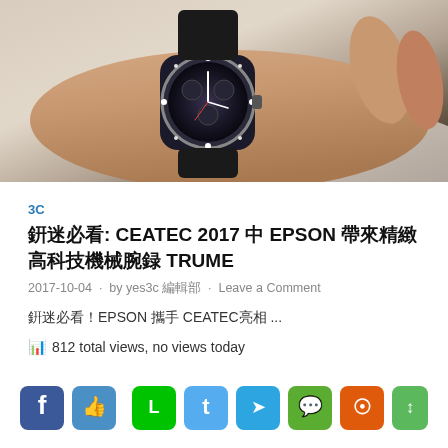[Figure (photo): A person's wrist wearing a dark metallic chronograph watch (EPSON TRUME), photographed on a white surface background.]
3C
錶迷必看: CEATEC 2017 中 EPSON 帶來精緻高科技機械腕錶 TRUME
2017-10-04 · by yes3c 編輯部 · Leave a Comment
錶迷必看！EPSON 攜手 CEATEC亮相 ...
📊 812 total views, no views today
[Figure (infographic): Social sharing buttons: Facebook, Facebook Like, Line, Twitter, Telegram, WeChat, RSS, Share icons in a horizontal row.]